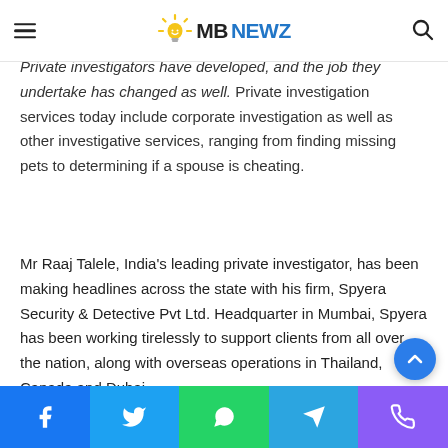MB NEWZ
professionals in their approach to their work. Private investigators have developed, and the job they undertake has changed as well. Private investigation services today include corporate investigation as well as other investigative services, ranging from finding missing pets to determining if a spouse is cheating.
Mr Raaj Talele, India's leading private investigator, has been making headlines across the state with his firm, Spyera Security & Detective Pvt Ltd. Headquarter in Mumbai, Spyera has been working tirelessly to support clients from all over the nation, along with overseas operations in Thailand, Canada and Dubai.
Social share bar: Facebook, Twitter, WhatsApp, Telegram, Phone